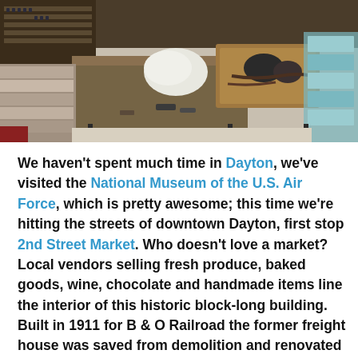[Figure (photo): Interior of 2nd Street Market showing wooden shelving units with bottles, rustic distressed wood display tables with boxes of goods including accessories and chocolates, viewed from above at an angle.]
We haven't spent much time in Dayton, we've visited the National Museum of the U.S. Air Force, which is pretty awesome; this time we're hitting the streets of downtown Dayton, first stop 2nd Street Market. Who doesn't love a market? Local vendors selling fresh produce, baked goods, wine, chocolate and handmade items line the interior of this historic block-long building. Built in 1911 for B & O Railroad the former freight house was saved from demolition and renovated in 2001, giving the market a year-round